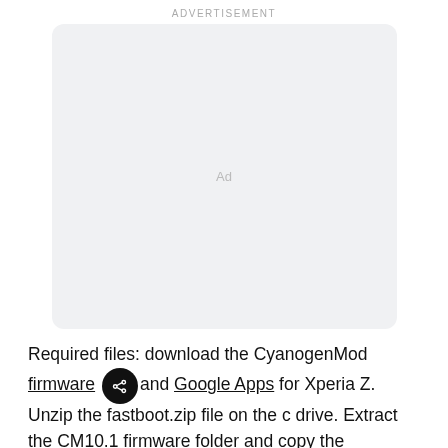ADVERTISEMENT
[Figure (other): Advertisement placeholder box with rounded corners and 'Ad' label in center]
Required files: download the CyanogenMod firmware and Google Apps for Xperia Z. Unzip the fastboot.zip file on the c drive. Extract the CM10.1 firmware folder and copy the boot.img file in the fastboot folder.